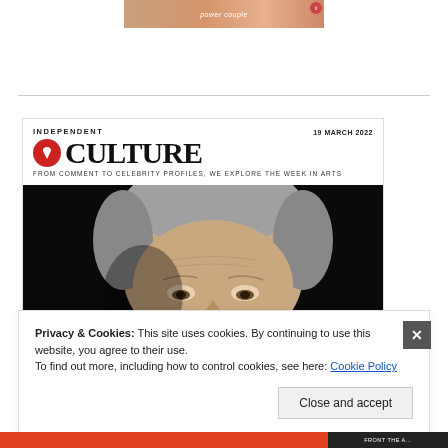[Figure (photo): Top advertisement banner showing 'power couple' text with reddish-skin-tone background and small red badge]
[Figure (screenshot): Independent Culture magazine cover dated 19 MARCH 2022 with red eagle logo, CULTURE title in large serif font, tagline 'FROM COMMENT TO CELEBRITY PROFILES, WE EXPLORE THE WEEK IN ARTS', and a close-up black background photo of an older man with grey hair and wrinkled forehead]
Privacy & Cookies: This site uses cookies. By continuing to use this website, you agree to their use.
To find out more, including how to control cookies, see here: Cookie Policy
Close and accept